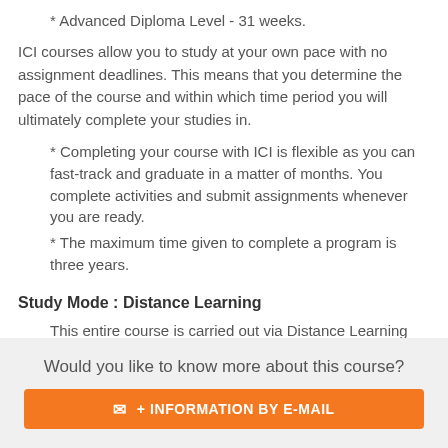* Advanced Diploma Level - 31 weeks.
ICI courses allow you to study at your own pace with no assignment deadlines. This means that you determine the pace of the course and within which time period you will ultimately complete your studies in.
* Completing your course with ICI is flexible as you can fast-track and graduate in a matter of months. You complete activities and submit assignments whenever you are ready.
* The maximum time given to complete a program is three years.
Study Mode : Distance Learning
This entire course is carried out via Distance Learning
Would you like to know more about this course?
+ INFORMATION BY E-MAIL